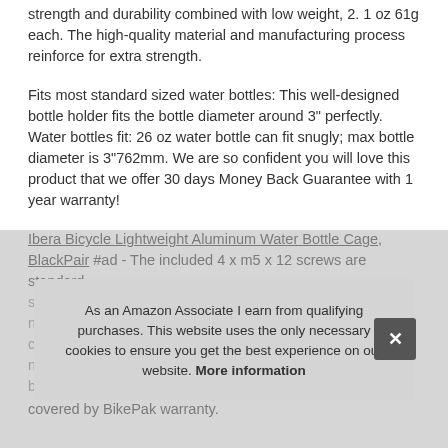strength and durability combined with low weight, 2. 1 oz 61g each. The high-quality material and manufacturing process reinforce for extra strength.
Fits most standard sized water bottles: This well-designed bottle holder fits the bottle diameter around 3" perfectly. Water bottles fit: 26 oz water bottle can fit snugly; max bottle diameter is 3"762mm. We are so confident you will love this product that we offer 30 days Money Back Guarantee with 1 year warranty!
Ibera Bicycle Lightweight Aluminum Water Bottle Cage, BlackPair #ad - The included 4 x m5 x 12 screws are standard size f… covered by BikePak warranty.
As an Amazon Associate I earn from qualifying purchases. This website uses the only necessary cookies to ensure you get the best experience on our website. More information